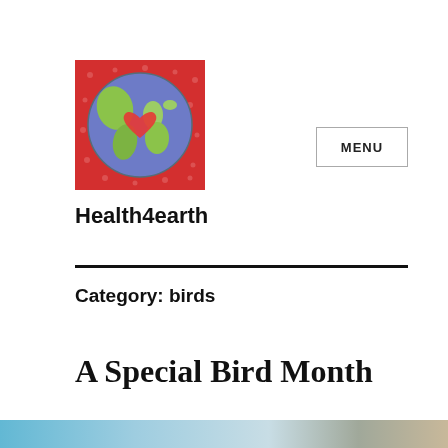[Figure (illustration): Circular painted illustration of Earth globe with green continents on a blue/purple oceanic background, with a red heart shape in the center. Set against a red polka-dot background square.]
MENU
Health4earth
Category: birds
A Special Bird Month
[Figure (photo): Partial thumbnail strip of a nature/bird photograph at the bottom of the page.]